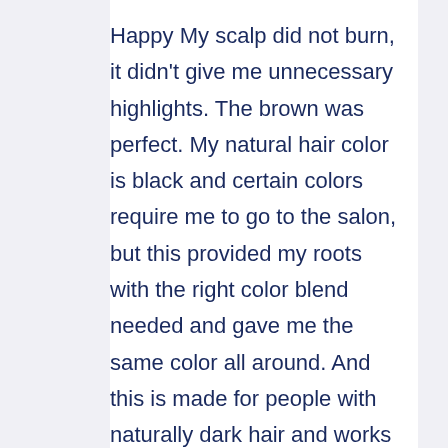Happy My scalp did not burn, it didn't give me unnecessary highlights. The brown was perfect. My natural hair color is black and certain colors require me to go to the salon, but this provided my roots with the right color blend needed and gave me the same color all around. And this is made for people with naturally dark hair and works great as well.